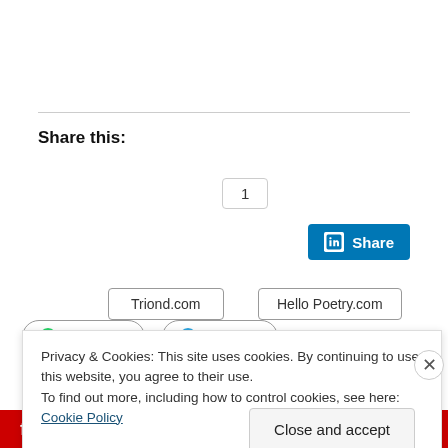Share this:
[Figure (screenshot): Pinterest Save button with count of 1, LinkedIn Share button, Triond.com and Hello Poetry.com share buttons, WhatsApp and Telegram share buttons]
Privacy & Cookies: This site uses cookies. By continuing to use this website, you agree to their use.
To find out more, including how to control cookies, see here: Cookie Policy
Close and accept
for listeners.